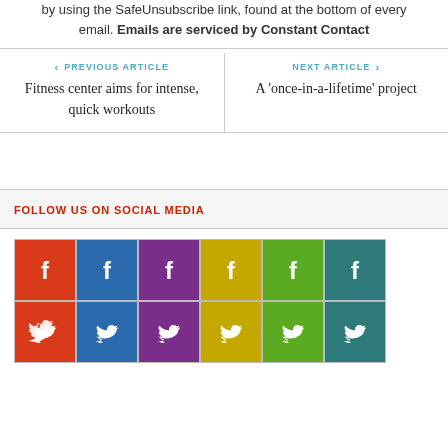by using the SafeUnsubscribe link, found at the bottom of every email. Emails are serviced by Constant Contact
PREVIOUS ARTICLE — Fitness center aims for intense, quick workouts
NEXT ARTICLE — A 'once-in-a-lifetime' project
FOLLOW US ON SOCIAL MEDIA
[Figure (infographic): Grid of 6 Facebook icons in different colors (red, blue, purple, yellow, green, teal) followed by 6 Twitter bird icons in the same colors]